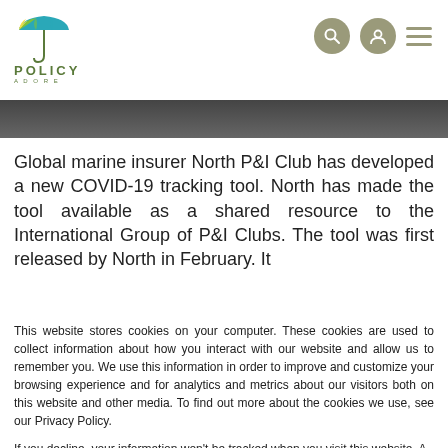[Figure (logo): Policy Adore logo with colorful umbrella icon and green text reading POLICY ADORE]
[Figure (screenshot): Navigation icons: search circle, user circle, hamburger menu in dark olive/grey]
[Figure (photo): Dark image strip partially visible at top of article]
Global marine insurer North P&I Club has developed a new COVID-19 tracking tool. North has made the tool available as a shared resource to the International Group of P&I Clubs. The tool was first released by North in February. It
This website stores cookies on your computer. These cookies are used to collect information about how you interact with our website and allow us to remember you. We use this information in order to improve and customize your browsing experience and for analytics and metrics about our visitors both on this website and other media. To find out more about the cookies we use, see our Privacy Policy.
If you decline, your information won't be tracked when you visit this website. A single cookie will be used in your browser to remember your preference not to be tracked.